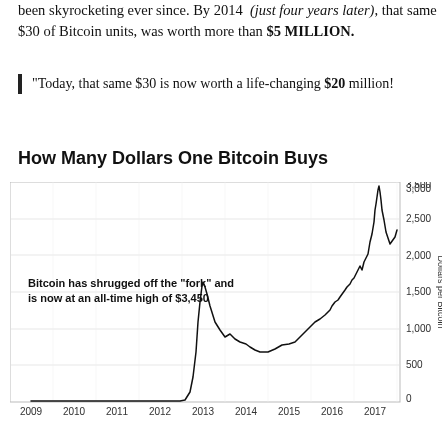been skyrocketing ever since. By 2014 (just four years later), that same $30 of Bitcoin units, was worth more than $5 MILLION.
"Today, that same $30 is now worth a life-changing $20 million!
How Many Dollars One Bitcoin Buys
[Figure (line-chart): Line chart showing Bitcoin price in USD from 2009 to 2017, rising sharply to ~$3,450 in 2017. Annotation: Bitcoin has shrugged off the "fork" and is now at an all-time high of $3,450]